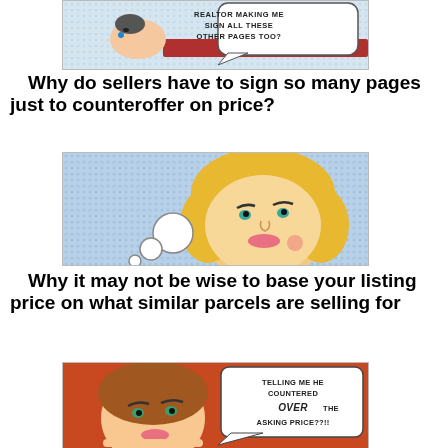[Figure (illustration): Pop-art style comic panel showing a person lying down signing papers. Speech bubble reads: 'REALTOR MAKING ME SIGN ALL THESE OTHER PAGES TOO?']
Why do sellers have to sign so many pages just to counteroffer on price?
[Figure (illustration): Pop-art style comic panel showing a blonde woman thinking with thought bubbles visible.]
Why it may not be wise to base your listing price on what similar parcels are selling for
[Figure (illustration): Pop-art style comic panel showing a woman with text bubble reading: 'TELLING ME HE COUNTERED OVER THE ASKING PRICE??!!']